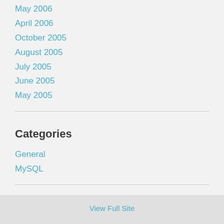May 2006
April 2006
October 2005
August 2005
July 2005
June 2005
May 2005
Categories
General
MySQL
Meta
Log in
Entries feed
Comments feed
WordPress.org
View Full Site